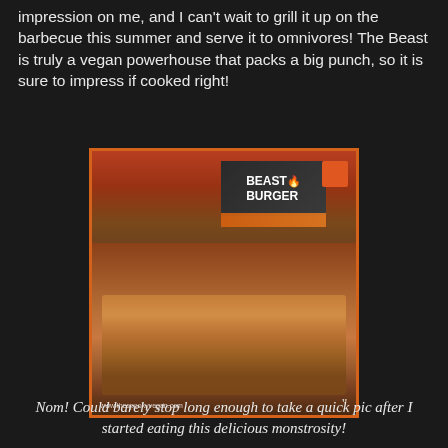impression on me, and I can't wait to grill it up on the barbecue this summer and serve it to omnivores! The Beast is truly a vegan powerhouse that packs a big punch, so it is sure to impress if cooked right!
[Figure (photo): Photo of a Beast Burger vegan patty served as a loaded burger with toppings and potato wedges, with the Beast Burger packaging box visible in the background. Watermark reads www.thespookyvegan.com]
Nom! Could barely stop long enough to take a quick pic after I started eating this delicious monstrosity!